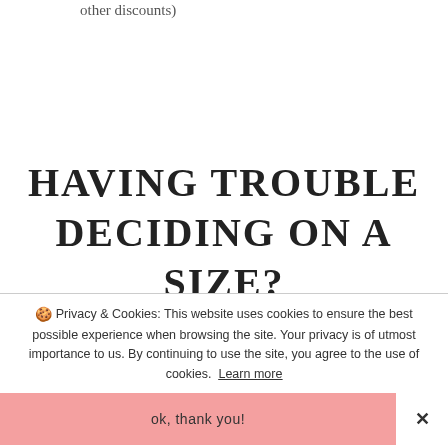other discounts)
HAVING TROUBLE DECIDING ON A SIZE?
🍪 Privacy & Cookies: This website uses cookies to ensure the best possible experience when browsing the site. Your privacy is of utmost importance to us. By continuing to use the site, you agree to the use of cookies. Learn more
ok, thank you!
✕